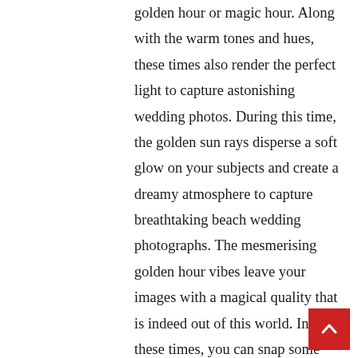golden hour or magic hour. Along with the warm tones and hues, these times also render the perfect light to capture astonishing wedding photos. During this time, the golden sun rays disperse a soft glow on your subjects and create a dreamy atmosphere to capture breathtaking beach wedding photographs. The mesmerising golden hour vibes leave your images with a magical quality that is indeed out of this world. In these times, you can snap some photos of your couple with the dramatic sky and the ocean that reflects magnificent colours as the background. Furthermore, since the sun is at a low angle, the light makes longer and softer shadows instead of
[Figure (other): Red back-to-top button with upward chevron arrow icon in bottom-right corner]